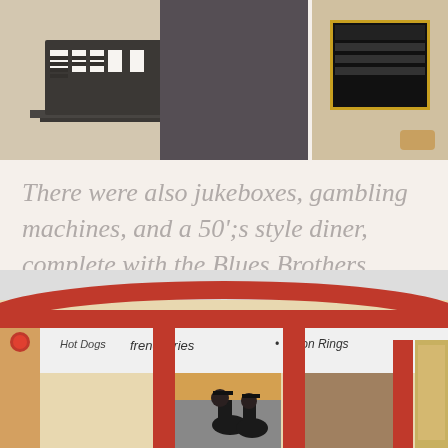[Figure (photo): Two photos side by side: left showing an accordion/keyboard instrument on a stand with dark clothing visible, right showing a dark jukebox-style device]
There were also jukeboxes, gambling machines, and a 50';s style diner, complete with the Blues Brothers.
[Figure (photo): Interior of a 50s style diner with curved red and white counter/bar area, red pillars, and two figures dressed as the Blues Brothers visible inside]